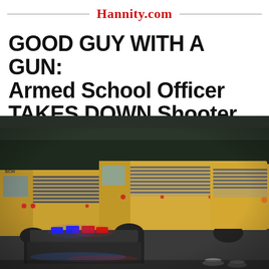Hannity.com
GOOD GUY WITH A GUN: Armed School Officer TAKES DOWN Shooter, Saves Lives
[Figure (photo): School buses lined up on a road at dusk with police lights visible in the foreground and people standing nearby]